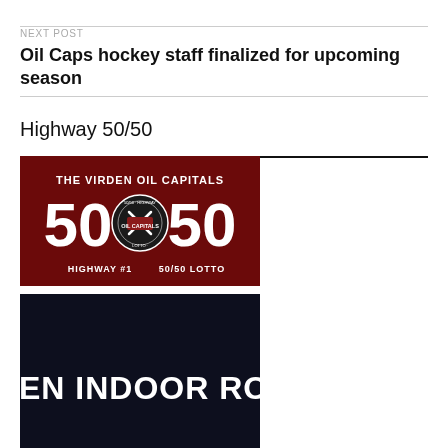NEXT POST
Oil Caps hockey staff finalized for upcoming season
Highway 50/50
[Figure (logo): The Virden Oil Capitals 50/50 Highway Lotto banner on dark red background with large '50 50' text and circular Oil Capitals logo in center, text reads HIGHWAY #1  50/50 LOTTO]
[Figure (photo): Virden Indoor Rodeo promotional banner on dark navy background with bold white text reading VIRDEN INDOOR RODEO]